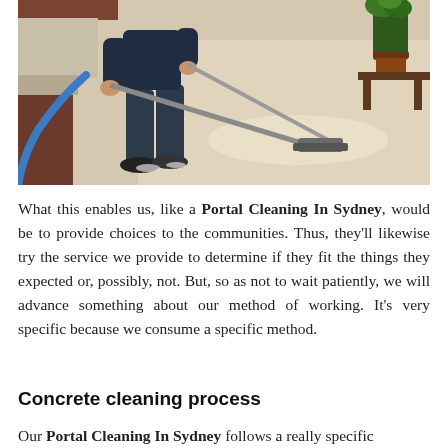[Figure (photo): A person in dark jeans and sneakers using a professional carpet cleaning machine with a blue hose on a light beige carpet. Furniture and a plant are visible in the background.]
What this enables us, like a Portal Cleaning In Sydney, would be to provide choices to the communities. Thus, they'll likewise try the service we provide to determine if they fit the things they expected or, possibly, not. But, so as not to wait patiently, we will advance something about our method of working. It's very specific because we consume a specific method.
Concrete cleaning process
Our Portal Cleaning In Sydney follows a really specific